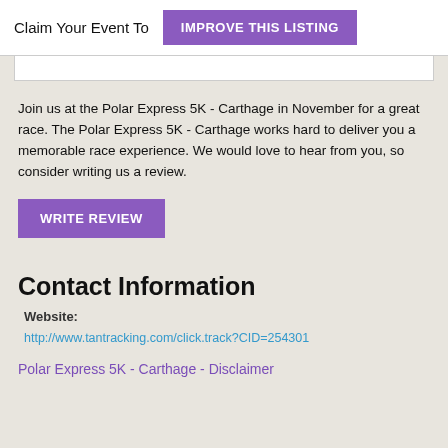Claim Your Event To
IMPROVE THIS LISTING
Join us at the Polar Express 5K - Carthage in November for a great race. The Polar Express 5K - Carthage works hard to deliver you a memorable race experience. We would love to hear from you, so consider writing us a review.
WRITE REVIEW
Contact Information
Website:
http://www.tantracking.com/click.track?CID=254301
Polar Express 5K - Carthage - Disclaimer